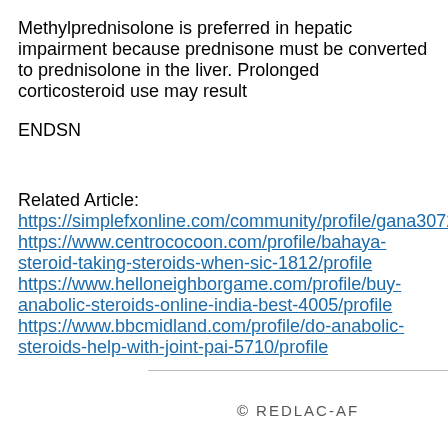Methylprednisolone is preferred in hepatic impairment because prednisone must be converted to prednisolone in the liver. Prolonged corticosteroid use may result
ENDSN
Related Article:
https://simplefxonline.com/community/profile/gana30725461/
https://www.centrococoon.com/profile/bahaya-steroid-taking-steroids-when-sic-1812/profile
https://www.helloneighborgame.com/profile/buy-anabolic-steroids-online-india-best-4005/profile
https://www.bbcmidland.com/profile/do-anabolic-steroids-help-with-joint-pai-5710/profile
© REDLAC-AF